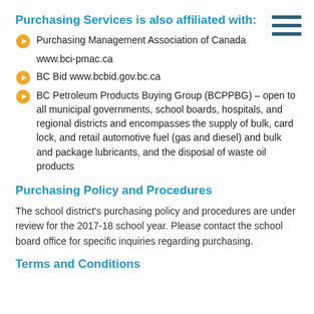Purchasing Services is also affiliated with:
Purchasing Management Association of Canada  www.bci-pmac.ca
BC Bid  www.bcbid.gov.bc.ca
BC Petroleum Products Buying Group (BCPPBG) – open to all municipal governments, school boards, hospitals, and regional districts and encompasses the supply of bulk, card lock, and retail automotive fuel (gas and diesel) and bulk and package lubricants, and the disposal of waste oil products
Purchasing Policy and Procedures
The school district's purchasing policy and procedures are under review for the 2017-18 school year. Please contact the school board office for specific inquiries regarding purchasing.
Terms and Conditions